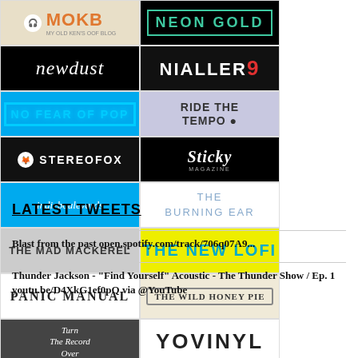[Figure (logo): Grid of music blog logos: MOKB, Neon Gold, newdust, Nialler9, No Fear of Pop, Ride the Tempo, Stereofox, Sticky Magazine, Indieboulevards, The Burning Ear, The Mad Mackerel, The New Lofi, Panic Manual, The Wild Honey Pie, Turn the Record Over, YOVINYL]
LATEST TWEETS
Blast from the past open.spotify.com/track/706q07A9...
Thunder Jackson - "Find Yourself" Acoustic - The Thunder Show / Ep. 1 youtu.be/D4XkG1ef0pQ via @YouTube